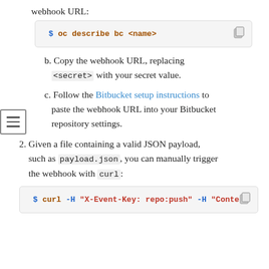webhook URL:
$ oc describe bc <name>
b. Copy the webhook URL, replacing <secret> with your secret value.
c. Follow the Bitbucket setup instructions to paste the webhook URL into your Bitbucket repository settings.
2. Given a file containing a valid JSON payload, such as payload.json, you can manually trigger the webhook with curl:
$ curl -H "X-Event-Key: repo:push" -H "Conte